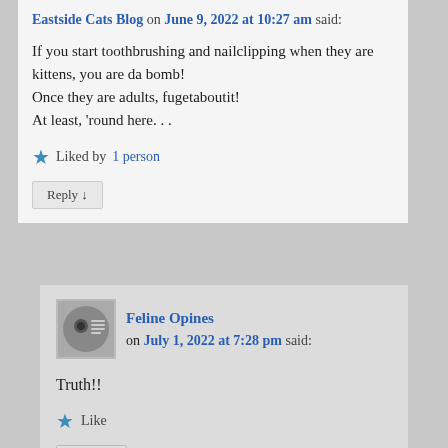Eastside Cats Blog on June 9, 2022 at 10:27 am said:
If you start toothbrushing and nailclipping when they are kittens, you are da bomb!
Once they are adults, fugetaboutit!
At least, 'round here. . .
Liked by 1 person
Reply ↓
Feline Opines on July 1, 2022 at 7:28 pm said:
Truth!!
Like
Reply ↓